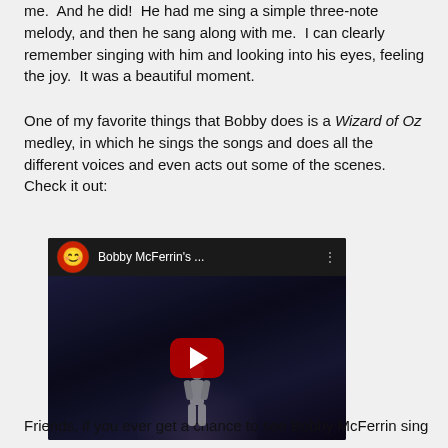me.  And he did!  He had me sing a simple three-note melody, and then he sang along with me.  I can clearly remember singing with him and looking into his eyes, feeling the joy.  It was a beautiful moment.
One of my favorite things that Bobby does is a Wizard of Oz medley, in which he sings the songs and does all the different voices and even acts out some of the scenes.  Check it out:
[Figure (screenshot): Embedded YouTube video thumbnail showing Bobby McFerrin performing on stage. The video bar at top shows the YouTube logo and title 'Bobby McFerrin's ...' with a three-dot menu. The video content area shows a dark stage with a lone performer and a large red play button overlay.]
Friends, if you ever get a chance to see Bobby McFerrin sing